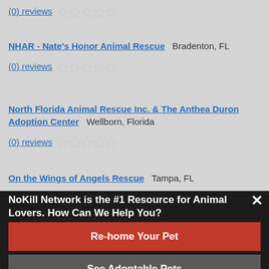(0) reviews ☆☆☆☆☆
NHAR - Nate's Honor Animal Rescue   Bradenton, FL
(0) reviews ☆☆☆☆☆
North Florida Animal Rescue Inc. & The Anthea Duron Adoption Center   Wellborn, Florida
(0) reviews ☆☆☆☆☆
On the Wings of Angels Rescue   Tampa, FL
NoKill Network is the #1 Resource for Animal Lovers. How Can We Help You?
Re-home Your Pet
See Adoptable Pets